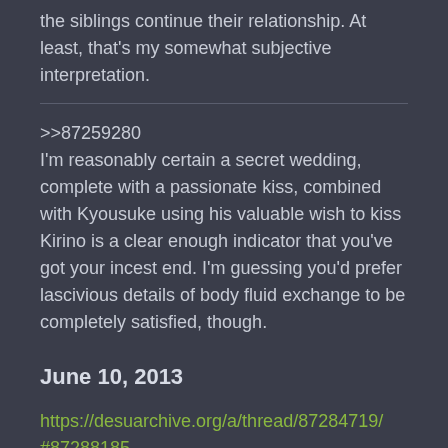the siblings continue their relationship. At least, that's my somewhat subjective interpretation.
>>87259280
I'm reasonably certain a secret wedding, complete with a passionate kiss, combined with Kyousuke using his valuable wish to kiss Kirino is a clear enough indicator that you've got your incest end. I'm guessing you'd prefer lascivious details of body fluid exchange to be completely satisfied, though.
June 10, 2013
https://desuarchive.org/a/thread/87284719/#87288185
>>87288011